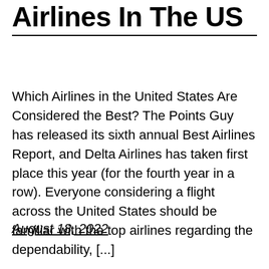Airlines In The US
Which Airlines in the United States Are Considered the Best? The Points Guy has released its sixth annual Best Airlines Report, and Delta Airlines has taken first place this year (for the fourth year in a row). Everyone considering a flight across the United States should be familiar with the top airlines regarding the dependability, [...]
August 18, 2022